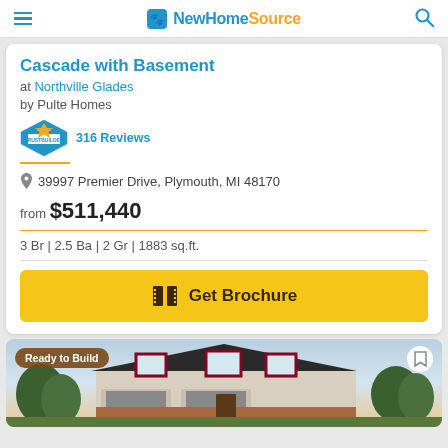NewHomeSource
Cascade with Basement
at Northville Glades
by Pulte Homes
316 Reviews
39997 Premier Drive, Plymouth, MI 48170
from $511,440
3 Br | 2.5 Ba | 2 Gr | 1883 sq.ft.
Get Brochure
[Figure (photo): Exterior photo of a two-story residential home with brick and siding, dark shutters, showing 'Ready to Build' badge]